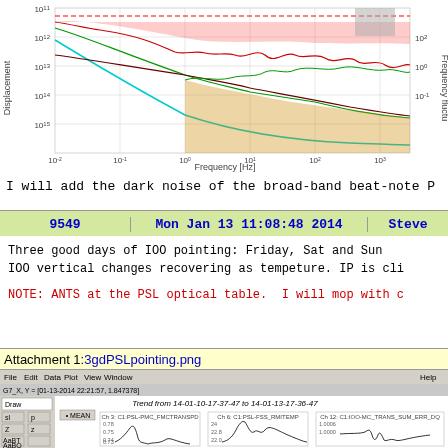[Figure (continuous-plot): Log-log frequency plot showing displacement noise vs frequency [Hz] with multiple colored curves (red, dark red, green, teal, brown) and dashed red line. Left y-axis: Displacement, right y-axis: Frequency fluctu-. X-axis: Frequency [Hz] from 10^-2 to 10^1]
I will add the dark noise of the broad-band beat-note P
| 9549 | Mon Jan 13 11:08:48 2014 | Steve |
| --- | --- | --- |
Three good days of IOO pointing: Friday, Sat and Sun
IOO vertical changes recovering as tempeture. IP is cli
NOTE: ANTS at the PSL optical table.  I will mop with c
Attachment 1: 3gdPSLpointing.png
[Figure (screenshot): Screenshot of a data trending application showing 'Trend from 14-01-10-17-37-47 to 14-01-13-17-36-47' with three channel plots: Ch 3: C1:PSL-PMC_FMCTRANSPD, Ch 6: C1:PSL-FSS_RMITEMP, Ch 12: C1:IOO-MC_TRANS_SUM_ERR_DQ]